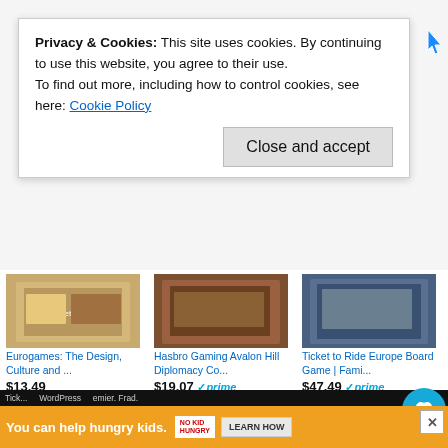Privacy & Cookies: This site uses cookies. By continuing to use this website, you agree to their use.
To find out more, including how to control cookies, see here: Cookie Policy
Close and accept
[Figure (photo): Board game product image - Eurogames: The Design, Culture and...]
Eurogames: The Design, Culture and ...
$13.49
★★★★☆ (30)
[Figure (photo): Board game product image - Hasbro Gaming Avalon Hill Diplomacy Co...]
Hasbro Gaming Avalon Hill Diplomacy Co...
$19.07 ✓prime
★★★★★ (142)
[Figure (photo): Board game product image - Ticket to Ride Europe Board Game | Fami...]
Ticket to Ride Europe Board Game | Fami...
$47.49 ✓prime
★★★★★ (12435)
[Figure (photo): Board game box - Luzern 1912]
[Figure (photo): Board game box - Murano]
[Figure (photo): Board game - Eternity/Alternate game]
You can help hungry kids. NO KID HUNGRY LEARN HOW
Ticket to Ride ... WordPress ... emier. Frad.